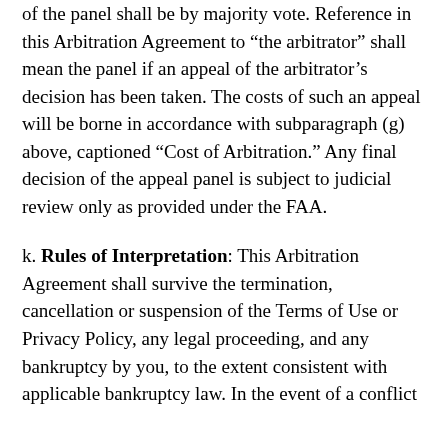of the panel shall be by majority vote. Reference in this Arbitration Agreement to “the arbitrator” shall mean the panel if an appeal of the arbitrator’s decision has been taken. The costs of such an appeal will be borne in accordance with subparagraph (g) above, captioned “Cost of Arbitration.” Any final decision of the appeal panel is subject to judicial review only as provided under the FAA.
k. Rules of Interpretation: This Arbitration Agreement shall survive the termination, cancellation or suspension of the Terms of Use or Privacy Policy, any legal proceeding, and any bankruptcy by you, to the extent consistent with applicable bankruptcy law. In the event of a conflict